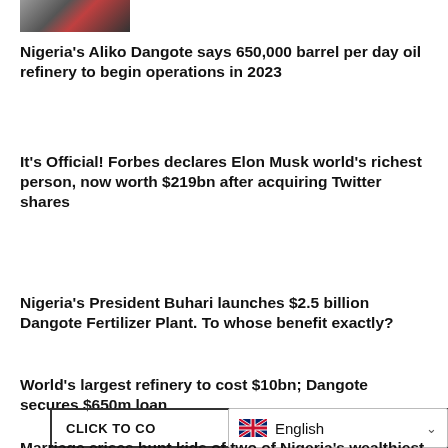[Figure (photo): Partial photo strip showing people at top of page]
Nigeria's Aliko Dangote says 650,000 barrel per day oil refinery to begin operations in 2023
It's Official! Forbes declares Elon Musk world's richest person, now worth $219bn after acquiring Twitter shares
Nigeria's President Buhari launches $2.5 billion Dangote Fertilizer Plant. To whose benefit exactly?
World's largest refinery to cost $10bn; Dangote secures $650m loan
Marriage crises hunt kids of two of Nigeria's wealthiest families
CLICK TO CO...  English